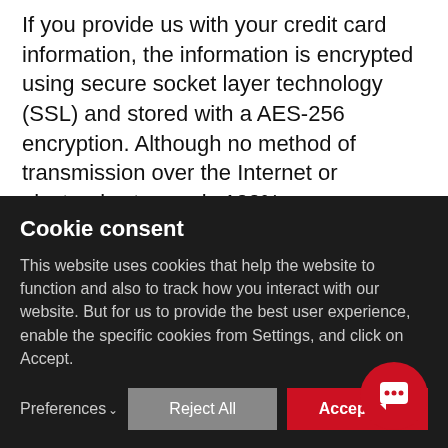If you provide us with your credit card information, the information is encrypted using secure socket layer technology (SSL) and stored with a AES-256 encryption. Although no method of transmission over the Internet or electronic storage is 100% secure, we follow all PCI-DSS requirements and implement additional generally accepted industry standards.
SECTION 7 - COOKIES
Cookie consent
This website uses cookies that help the website to function and also to track how you interact with our website. But for us to provide the best user experience, enable the specific cookies from Settings, and click on Accept.